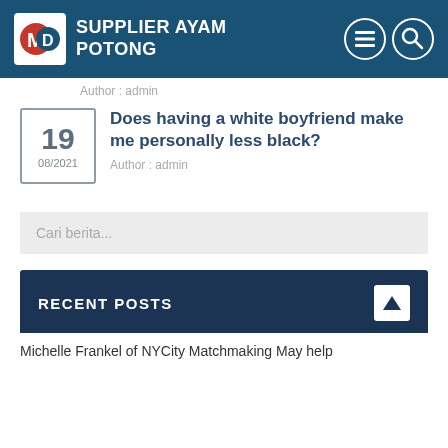SUPPLIER AYAM POTONG
Author : admin
Does having a white boyfriend make me personally less black?
Author : admin
19
08/2021
Cari berita...
RECENT POSTS
Michelle Frankel of NYCity Matchmaking May help